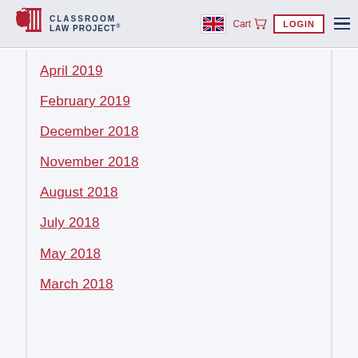Classroom Law Project — Cart LOGIN
April 2019
February 2019
December 2018
November 2018
August 2018
July 2018
May 2018
March 2018